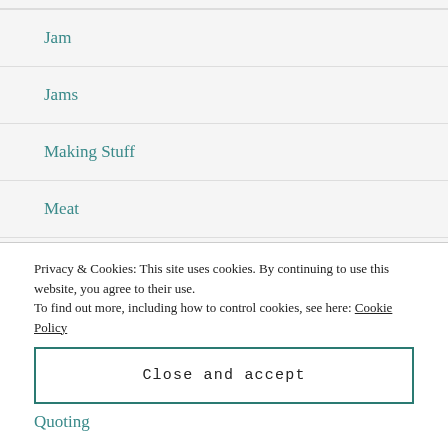Jam
Jams
Making Stuff
Meat
Other
Pasta
Pickl…
Privacy & Cookies: This site uses cookies. By continuing to use this website, you agree to their use.
To find out more, including how to control cookies, see here: Cookie Policy
Quoting